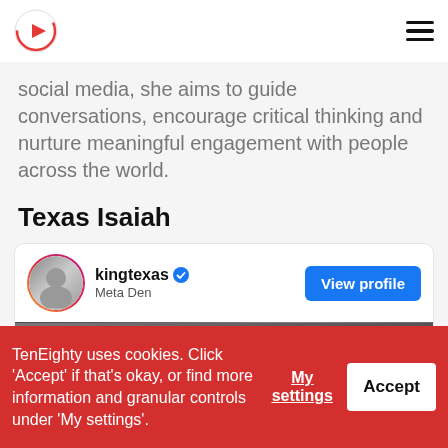TenEighty logo and navigation menu
social media, she aims to guide conversations, encourage critical thinking and nurture meaningful engagement with people across the world.
Texas Isaiah
[Figure (screenshot): Profile card for kingtexas (Meta Den) with verified badge and View profile button, followed by a black-and-white portrait photo of two men]
TenEighty uses cookies. Click 'Accept' if that's okay, or find more information and granular controls under 'My settings'.
My settings
Accept